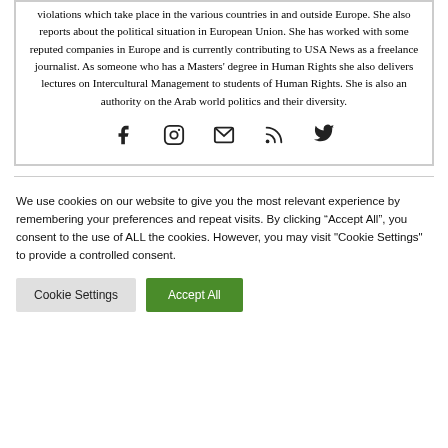violations which take place in the various countries in and outside Europe. She also reports about the political situation in European Union. She has worked with some reputed companies in Europe and is currently contributing to USA News as a freelance journalist. As someone who has a Masters' degree in Human Rights she also delivers lectures on Intercultural Management to students of Human Rights. She is also an authority on the Arab world politics and their diversity.
[Figure (other): Social media icons: Facebook, Instagram, Email, RSS, Twitter]
We use cookies on our website to give you the most relevant experience by remembering your preferences and repeat visits. By clicking "Accept All", you consent to the use of ALL the cookies. However, you may visit "Cookie Settings" to provide a controlled consent.
Cookie Settings
Accept All